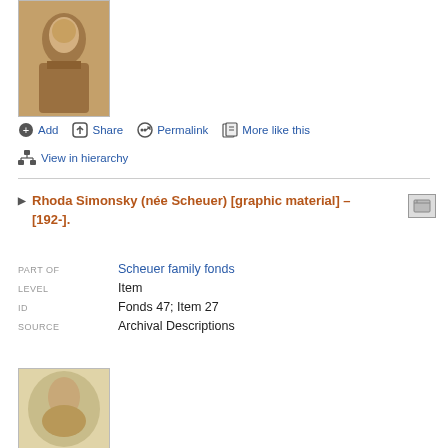[Figure (photo): Sepia portrait photo of a young man in jacket, top portion visible]
Add  Share  Permalink  More like this
View in hierarchy
Rhoda Simonsky (née Scheuer) [graphic material] – [192-].
| PART OF | Scheuer family fonds |
| LEVEL | Item |
| ID | Fonds 47; Item 27 |
| SOURCE | Archival Descriptions |
[Figure (photo): Sepia oval portrait photo of a young woman]